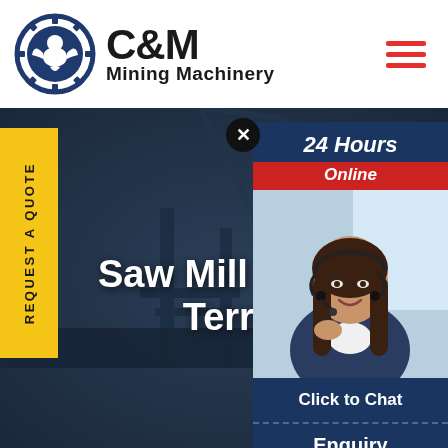[Figure (logo): C&M Mining Machinery logo with eagle gear icon in navy blue circle]
[Figure (illustration): Hamburger menu icon with three red horizontal lines]
[Figure (photo): Dark industrial mining machinery hero background image]
REQUEST A QUOTE
Saw Mill Near Ra Terrace
[Figure (infographic): 24 Hours Online chat popup with customer service representative photo, Click to Chat button, and Enquiry section]